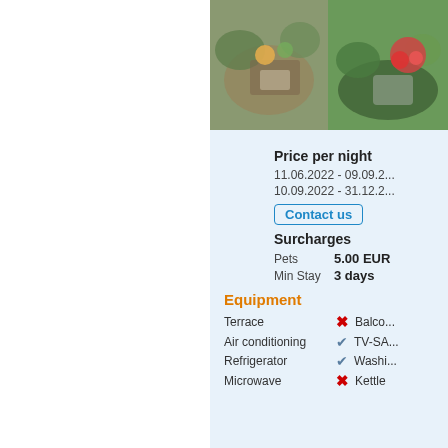[Figure (photo): Two outdoor terrace/garden dining photos side by side]
Price per night
11.06.2022 - 09.09.2...
10.09.2022 - 31.12.2...
Contact us
Surcharges
Pets  5.00 EUR
Min Stay  3 days
Equipment
Terrace  ✗  Balco...
Air conditioning  ✓  TV-SA...
Refrigerator  ✓  Washi...
Microwave  ✗  Kettle
[Figure (other): Facebook Like button with count 0]
[Figure (other): Twitter Tweet button]
[Figure (other): Share button with count 0]